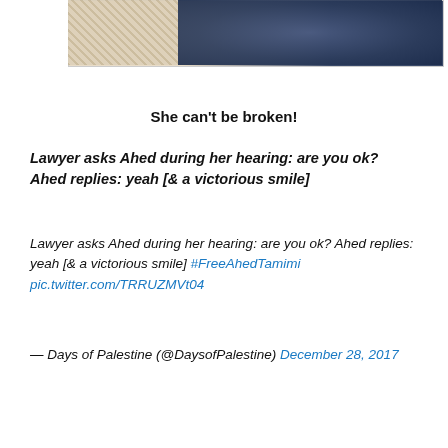[Figure (photo): Partial image at top showing textile/fabric pattern with cream/beige on left and dark navy blue on right]
She can't be broken!
Lawyer asks Ahed during her hearing: are you ok? Ahed replies: yeah [& a victorious smile]
Lawyer asks Ahed during her hearing: are you ok? Ahed replies: yeah [& a victorious smile] #FreeAhedTamimi pic.twitter.com/TRRUZMVt04
— Days of Palestine (@DaysofPalestine) December 28, 2017